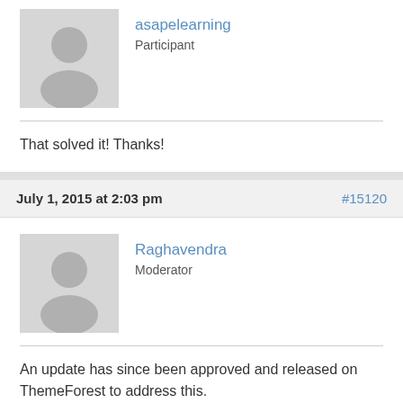asapelearning
Participant
That solved it! Thanks!
July 1, 2015 at 2:03 pm
#15120
Raghavendra
Moderator
An update has since been approved and released on ThemeForest to address this.